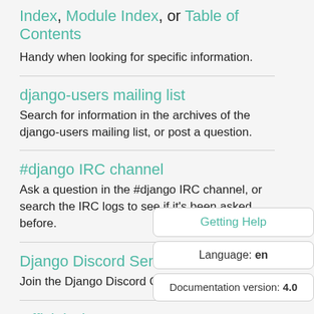Index, Module Index, or Table of Contents
Handy when looking for specific information.
django-users mailing list
Search for information in the archives of the django-users mailing list, or post a question.
#django IRC channel
Ask a question in the #django IRC channel, or search the IRC logs to see if it's been asked before.
Django Discord Server
Join the Django Discord Community.
Official Django Forum
Join the community on the Django Forum.
Ticket tracker
Getting Help
Language: en
Documentation version: 4.0